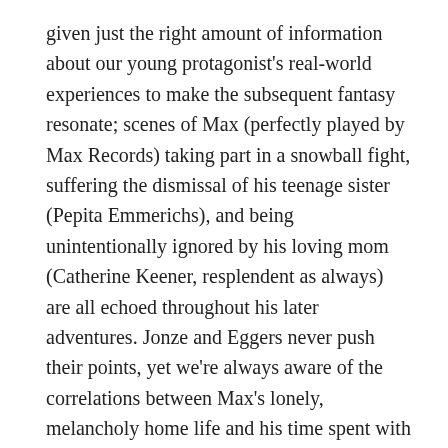given just the right amount of information about our young protagonist's real-world experiences to make the subsequent fantasy resonate; scenes of Max (perfectly played by Max Records) taking part in a snowball fight, suffering the dismissal of his teenage sister (Pepita Emmerichs), and being unintentionally ignored by his loving mom (Catherine Keener, resplendent as always) are all echoed throughout his later adventures. Jonze and Eggers never push their points, yet we're always aware of the correlations between Max's lonely, melancholy home life and his time spent with the monsters, one underlined by the divinely eccentric and richly human work of Wild Things' vocal cast.
Enacted by such talents as James Gandolfini, Catherine O'Hara, Lauren Ambrose, Chris Cooper, Forest Whitaker, and Paul Dano, the monsters are a rambunctious, motley bunch. But they're also easily hurt and deeply sensitive - they're kids, like Max - and while Jonze delivers visual wonderment to spare, he might do his best work here with the supple